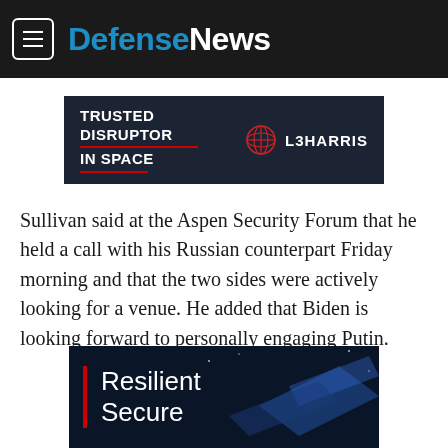DefenseNews
[Figure (other): L3Harris advertisement banner: dark navy background with text 'TRUSTED DISRUPTOR IN SPACE' in white bold uppercase letters with red underlines, and the L3Harris logo (globe icon) with 'L3HARRIS' in white on the right side.]
Sullivan said at the Aspen Security Forum that he held a call with his Russian counterpart Friday morning and that the two sides were actively looking for a venue. He added that Biden is looking forward to personally engaging Putin.
[Figure (other): L3Harris advertisement banner (partial): dark blue background with satellite imagery, red vertical bar on left, and white text reading 'Resilient Secure']